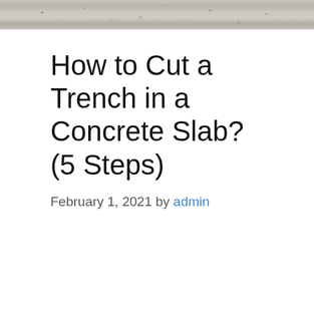[Figure (photo): Top portion of a concrete surface photo, showing gray concrete texture with speckled pattern.]
How to Cut a Trench in a Concrete Slab? (5 Steps)
February 1, 2021 by admin